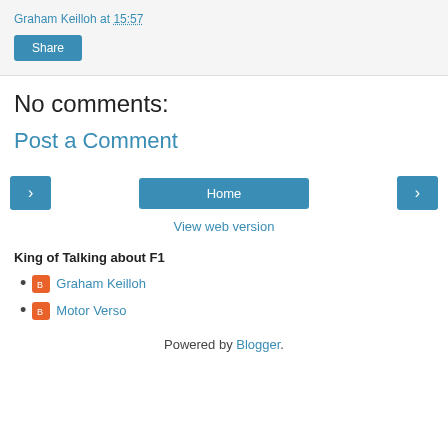Graham Keilloh at 15:57
Share
No comments:
Post a Comment
< Home >
View web version
King of Talking about F1
Graham Keilloh
Motor Verso
Powered by Blogger.